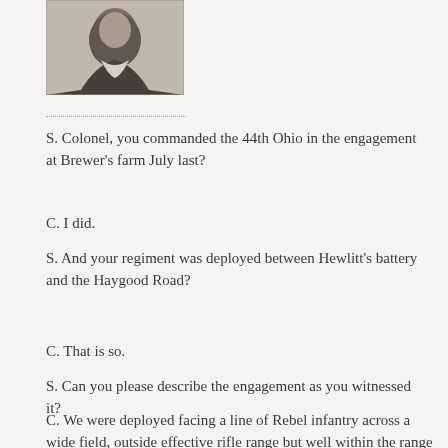[Figure (photo): Black and white portrait photograph of a bearded man, likely a Civil War era officer, cropped at upper left of page.]
S. Colonel, you commanded the 44th Ohio in the engagement at Brewer's farm July last?
C. I did.
S. And your regiment was deployed between Hewlitt's battery and the Haygood Road?
C. That is so.
S. Can you please describe the engagement as you witnessed it?
C. We were deployed facing a line of Rebel infantry across a wide field, outside effective rifle range but well within the range of Hewlitt's rifled guns. As the Johnnies